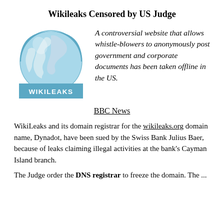Wikileaks Censored by US Judge
[Figure (logo): WikiLeaks logo: globe with world map over light blue background, with 'WIKILEAKS' text in white on blue bar at bottom]
A controversial website that allows whistle-blowers to anonymously post government and corporate documents has been taken offline in the US.
BBC News
WikiLeaks and its domain registrar for the wikileaks.org domain name, Dynadot, have been sued by the Swiss Bank Julius Baer, because of leaks claiming illegal activities at the bank's Cayman Island branch.
The Judge order the DNS registrar to freeze the domain. The ...